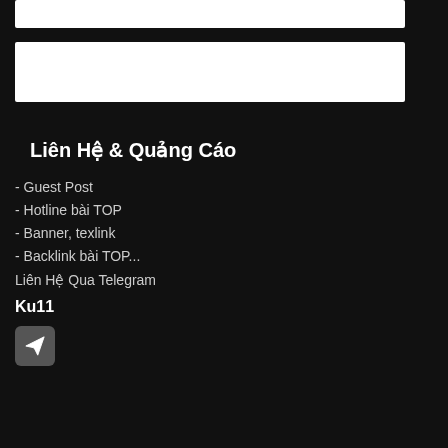[Figure (other): White rectangle placeholder box at top]
[Figure (other): White rectangle placeholder box in middle]
Liên Hệ & Quảng Cáo
- Guest Post
- Hotline bài TOP
- Banner, texlink
- Backlink bài TOP...
Liên Hệ Qua Telegram
Ku11
[Figure (logo): Telegram send button icon in dark rounded square]